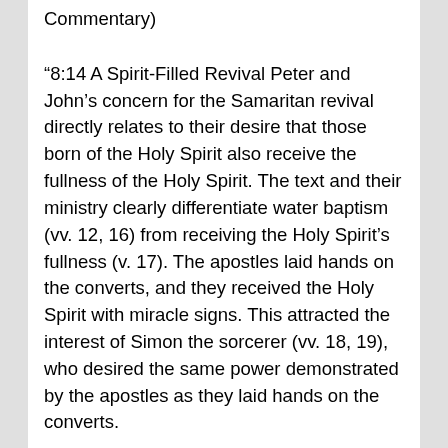Commentary)
“8:14 A Spirit-Filled Revival Peter and John’s concern for the Samaritan revival directly relates to their desire that those born of the Holy Spirit also receive the fullness of the Holy Spirit. The text and their ministry clearly differentiate water baptism (vv. 12, 16) from receiving the Holy Spirit’s fullness (v. 17). The apostles laid hands on the converts, and they received the Holy Spirit with miracle signs. This attracted the interest of Simon the sorcerer (vv. 18, 19), who desired the same power demonstrated by the apostles as they laid hands on the converts.
“For the apostles, the Holy Spirit fullness was no small matter; their focus and approach were